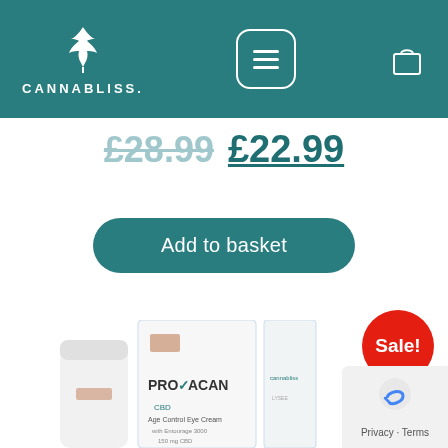[Figure (screenshot): Cannabliss website header with logo, hamburger menu button, and shopping basket icon on teal background]
£28.99 £22.99
Add to basket
[Figure (illustration): Red circular Sale! badge]
[Figure (photo): Provacan CBD Age Control Eye Cream product with box and tube]